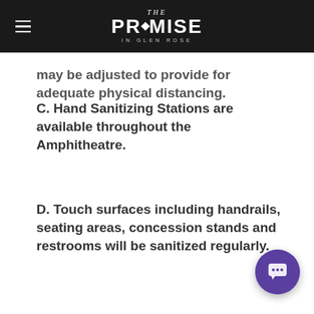THE PROMISE IN GLEN ROSE
may be adjusted to provide for adequate physical distancing.
C. Hand Sanitizing Stations are available throughout the Amphitheatre.
D. Touch surfaces including handrails, seating areas, concession stands and restrooms will be sanitized regularly.
E. Backstage tours will be cancelled for this season. Refunds or concessions vouchers will be available to those who have prepaid for backstage tours.